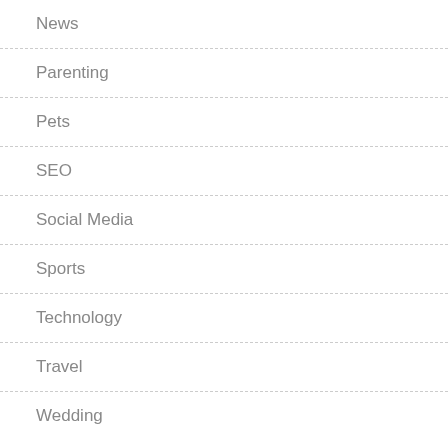News
Parenting
Pets
SEO
Social Media
Sports
Technology
Travel
Wedding